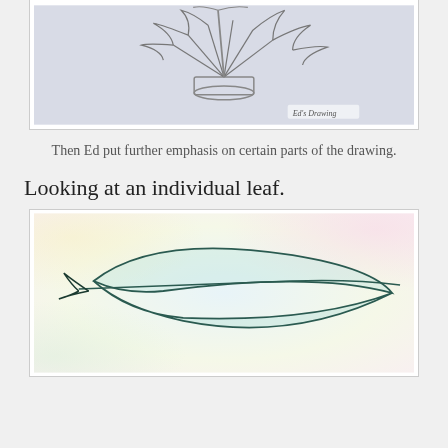[Figure (illustration): Pencil sketch drawing of a plant with leaves in a pot, labeled 'Ed's Drawing' in the bottom right corner]
Then Ed put further emphasis on certain parts of the drawing.
Looking at an individual leaf.
[Figure (illustration): Watercolor/pastel illustration of an individual elongated leaf with dark outlines on a light background with soft color wash]